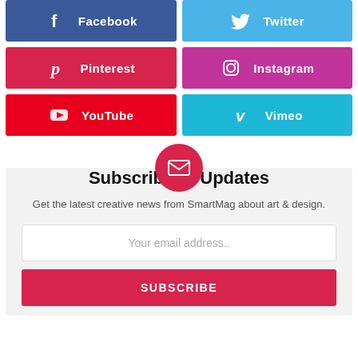[Figure (infographic): Six social media buttons in a 2-column grid: Facebook (blue), Twitter (light blue), Pinterest (red), Instagram (purple), YouTube (red), Vimeo (cyan)]
[Figure (infographic): Subscribe to Updates section with mail icon circle, title, description text, email input field, and SUBSCRIBE button]
Subscribe to Updates
Get the latest creative news from SmartMag about art & design.